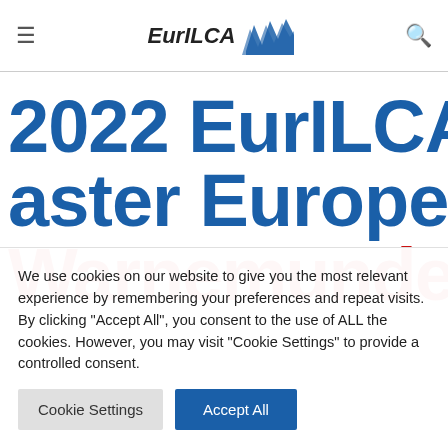EurILCA
2022 EurILCA Master European Warnemunde
We use cookies on our website to give you the most relevant experience by remembering your preferences and repeat visits. By clicking "Accept All", you consent to the use of ALL the cookies. However, you may visit "Cookie Settings" to provide a controlled consent.